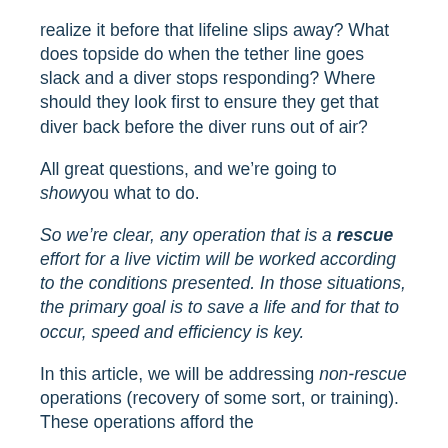realize it before that lifeline slips away? What does topside do when the tether line goes slack and a diver stops responding? Where should they look first to ensure they get that diver back before the diver runs out of air?
All great questions, and we’re going to show you what to do.
So we’re clear, any operation that is a rescue effort for a live victim will be worked according to the conditions presented. In those situations, the primary goal is to save a life and for that to occur, speed and efficiency is key.
In this article, we will be addressing non-rescue operations (recovery of some sort, or training). These operations afford the